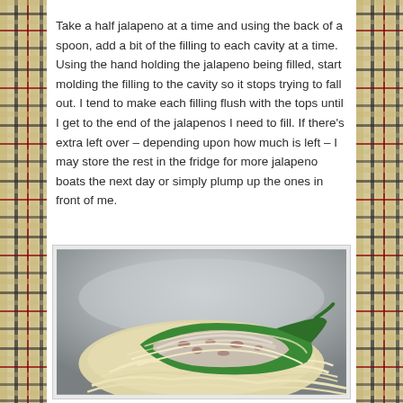Take a half jalapeno at a time and using the back of a spoon, add a bit of the filling to each cavity at a time. Using the hand holding the jalapeno being filled, start molding the filling to the cavity so it stops trying to fall out. I tend to make each filling flush with the tops until I get to the end of the jalapenos I need to fill. If there’s extra left over – depending upon how much is left – I may store the rest in the fridge for more jalapeno boats the next day or simply plump up the ones in front of me.
[Figure (photo): A stuffed jalapeno pepper half filled with a creamy cheese and meat mixture, surrounded by shredded cheese in a stainless steel bowl.]